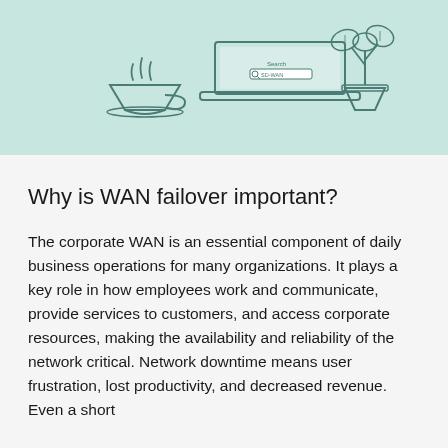[Figure (illustration): Illustration on a mint/teal green background showing a laptop with a search bar displaying 'SD-WAN', a steaming coffee cup to the left, and a potted plant with leaves to the right. All in a simple line-art style.]
Why is WAN failover important?
The corporate WAN is an essential component of daily business operations for many organizations. It plays a key role in how employees work and communicate, provide services to customers, and access corporate resources, making the availability and reliability of the network critical. Network downtime means user frustration, lost productivity, and decreased revenue. Even a short